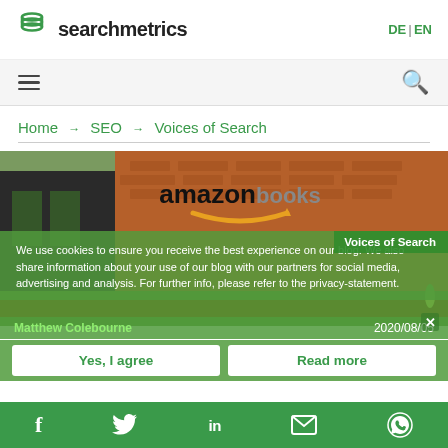[Figure (logo): Searchmetrics logo with green layered S icon and bold text 'searchmetrics']
DE | EN
hamburger menu icon and search icon navigation bar
Home → SEO → Voices of Search
[Figure (photo): Amazon Books store exterior with brick wall and amazon smile logo, a cookie consent overlay, article label 'Voices of Search', author 'Matthew Colebourne', date '2020/08/05']
We use cookies to ensure you receive the best experience on our blog. We also share information about your use of our blog with our partners for social media, advertising and analysis. For further info, please refer to the privacy-statement.
Matthew Colebourne
2020/08/05
Yes, I agree
Read more
Social share icons: Facebook, Twitter, LinkedIn, Email, WhatsApp